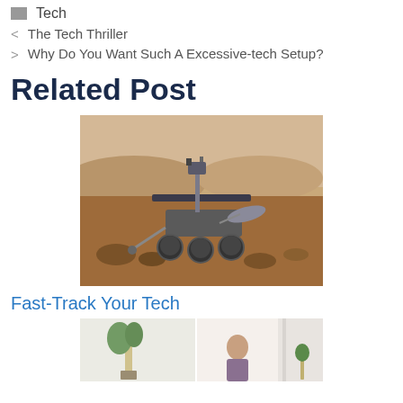Tech
< The Tech Thriller
> Why Do You Want Such A Excessive-tech Setup?
Related Post
[Figure (photo): Mars rover on rocky red terrain with hills in background]
Fast-Track Your Tech
[Figure (photo): Partial view of two images showing indoor plants and people in bright room]